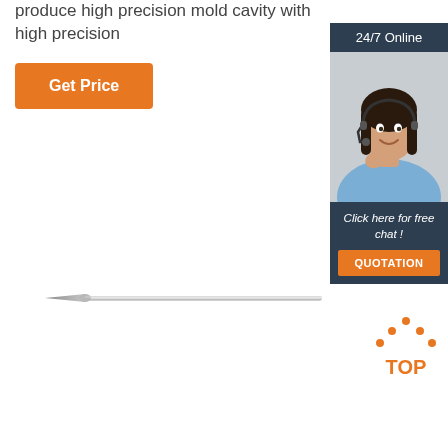produce high precision mold cavity with high precision
[Figure (other): Orange 'Get Price' button]
[Figure (other): 24/7 Online chat widget with photo of customer service representative, 'Click here for free chat!' text, and orange QUOTATION button]
[Figure (other): Carbide rotary burr tool - long needle-point style tool with metallic finish]
[Figure (other): Orange and dark 'TOP' badge with dots forming triangle shape above text]